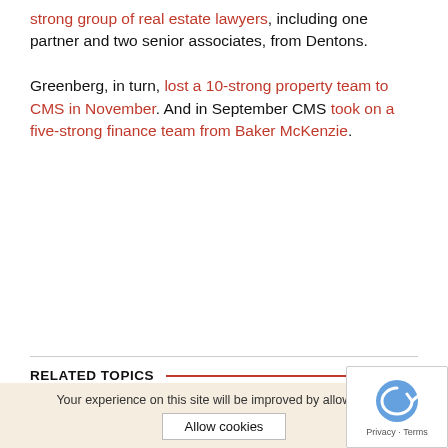strong group of real estate lawyers, including one partner and two senior associates, from Dentons.

Greenberg, in turn, lost a 10-strong property team to CMS in November. And in September CMS took on a five-strong finance team from Baker McKenzie.
RELATED TOPICS
Big Four Accountancy Firms
Law Firm Lateral Hires
News
Poland
Banking and finance
Your experience on this site will be improved by allowing coo
Allow cookies